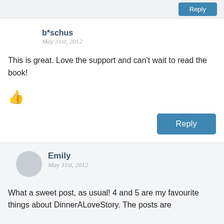b*schus
May 31st, 2012
This is great. Love the support and can't wait to read the book!
Emily
May 31st, 2012
What a sweet post, as usual! 4 and 5 are my favourite things about DinnerALoveStory. The posts are